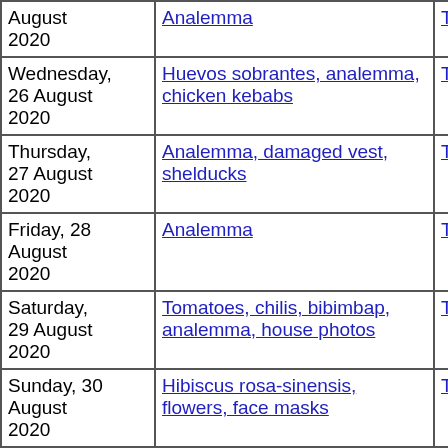| Date | Title | Thumbnails | Small photos | dia |
| --- | --- | --- | --- | --- |
| August 2020 | Analemma | Thumbnails | Small photos | dia |
| Wednesday, 26 August 2020 | Huevos sobrantes, analemma, chicken kebabs | Thumbnails | Small photos | dia |
| Thursday, 27 August 2020 | Analemma, damaged vest, shelducks | Thumbnails | Small photos | dia |
| Friday, 28 August 2020 | Analemma | Thumbnails | Small photos | dia |
| Saturday, 29 August 2020 | Tomatoes, chilis, bibimbap, analemma, house photos | Thumbnails | Small photos | dia |
| Sunday, 30 August 2020 | Hibiscus rosa-sinensis, flowers, face masks | Thumbnails | Small photos | dia |
| Monday, 31 August 2020 | PV inverter strangeness, accept no license, bouquet, acacia, face mask, walking dogs | Thumbnails | Small photos | dia |
| Tuesday, 1 | Analemma... | Thumbnails | Small photos | dia |